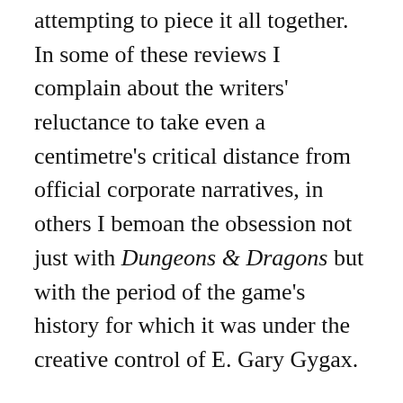attempting to piece it all together. In some of these reviews I complain about the writers' reluctance to take even a centimetre's critical distance from official corporate narratives, in others I bemoan the obsession not just with Dungeons & Dragons but with the period of the game's history for which it was under the creative control of E. Gary Gygax.
My complaints are rooted in the fact that there are a number of historic moments that would really benefit from sustained critical scrutiny. Books could be written about the early years of Games Workshop, the boom in collectible card games, the weird bubble that surrounded the launch of the D20 open gaming license, the first disappointing attempts to shift the hobby o...